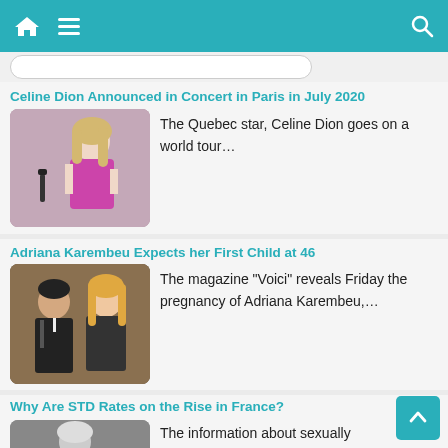Navigation bar with home, menu, and search icons
Celine Dion Announced in Concert in Paris in July 2020
[Figure (photo): Celine Dion performing on stage in a purple dress, holding a microphone]
The Quebec star, Celine Dion goes on a world tour…
Adriana Karembeu Expects her First Child at 46
[Figure (photo): Adriana Karembeu and a man posing together at an event]
The magazine "Voici" reveals Friday the pregnancy of Adriana Karembeu,…
Why Are STD Rates on the Rise in France?
[Figure (photo): Black and white photo of a woman looking down pensively]
The information about sexually transmitted diseases and how to prevent…